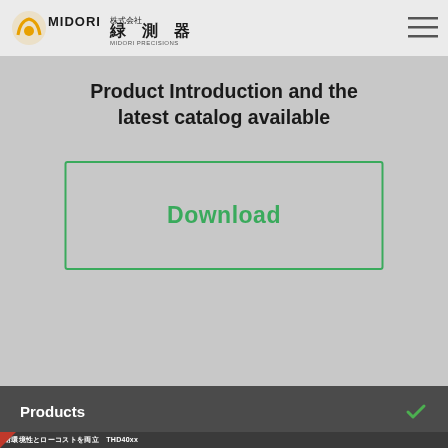MIDORI 株式会社 緑測器 MIDORI PRECISIONS
Product Introduction and the latest catalog available
Download
Products
[Figure (infographic): NEW banner with Japanese text: 耐環境性とローコストを両立 レシオ出力 / 2軸傾斜角度センサ THD40xx, with sensor product image on the right]